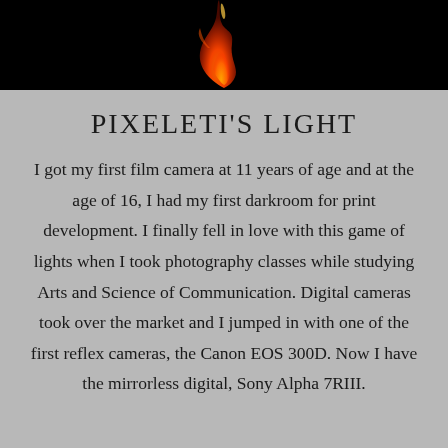[Figure (photo): A flame against a black background — orange and red fire photographed from below against a dark backdrop, centered in a horizontal strip at the top of the page.]
PIXELETI'S LIGHT
I got my first film camera at 11 years of age and at the age of 16, I had my first darkroom for print development. I finally fell in love with this game of lights when I took photography classes while studying Arts and Science of Communication. Digital cameras took over the market and I jumped in with one of the first reflex cameras, the Canon EOS 300D. Now I have the mirrorless digital, Sony Alpha 7RIII.